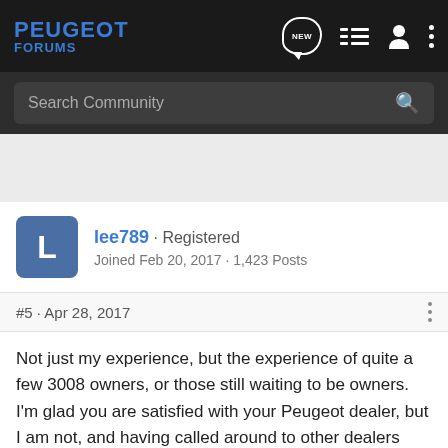PEUGEOT FORUMS
Search Community
lee789 · Registered
Joined Feb 20, 2017 · 1,423 Posts
#5 · Apr 28, 2017
Not just my experience, but the experience of quite a few 3008 owners, or those still waiting to be owners. I'm glad you are satisfied with your Peugeot dealer, but I am not, and having called around to other dealers trying to find one that might offer a better service, it doesn't seem promising. Maybe I just live in an area where they are all crap, or maybe Peugeot are going to